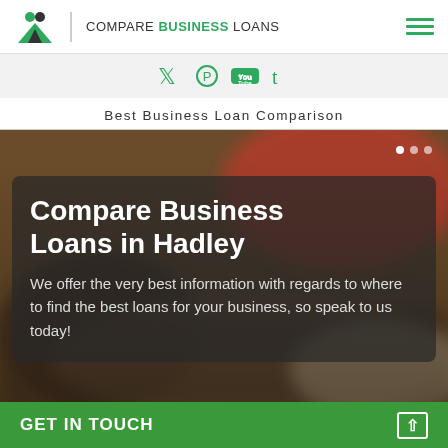[Figure (logo): Compare Business Loans logo with green icon and text]
[Figure (infographic): Social media icons: Twitter, Pinterest, YouTube, Tumblr in teal/green color]
Best Business Loan Comparison
[Figure (photo): Hero image with blurred business/document background, dark semi-transparent card overlay with title text 'Compare Business Loans in Hadley' and subtitle 'We offer the very best information with regards to where to find the best loans for your business, so speak to us today!']
GET IN TOUCH